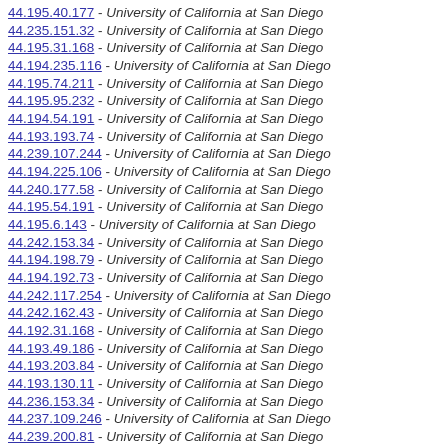44.195.40.177 - University of California at San Diego
44.235.151.32 - University of California at San Diego
44.195.31.168 - University of California at San Diego
44.194.235.116 - University of California at San Diego
44.195.74.211 - University of California at San Diego
44.195.95.232 - University of California at San Diego
44.194.54.191 - University of California at San Diego
44.193.193.74 - University of California at San Diego
44.239.107.244 - University of California at San Diego
44.194.225.106 - University of California at San Diego
44.240.177.58 - University of California at San Diego
44.195.54.191 - University of California at San Diego
44.195.6.143 - University of California at San Diego
44.242.153.34 - University of California at San Diego
44.194.198.79 - University of California at San Diego
44.194.192.73 - University of California at San Diego
44.242.117.254 - University of California at San Diego
44.242.162.43 - University of California at San Diego
44.192.31.168 - University of California at San Diego
44.193.49.186 - University of California at San Diego
44.193.203.84 - University of California at San Diego
44.193.130.11 - University of California at San Diego
44.236.153.34 - University of California at San Diego
44.237.109.246 - University of California at San Diego
44.239.200.81 - University of California at San Diego
44.193.225.106 - University of California at San Diego
44.239.18.155 - University of California at San Diego
44.194.63.200 - University of California at San Diego
44.229.140.21 - University of California at San Diego
44.193.28.165 - University of California at San Diego